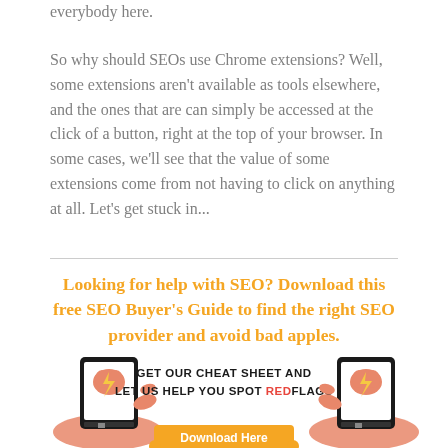everybody here.
So why should SEOs use Chrome extensions? Well, some extensions aren't available as tools elsewhere, and the ones that are can simply be accessed at the click of a button, right at the top of your browser. In some cases, we'll see that the value of some extensions come from not having to click on anything at all. Let's get stuck in...
Looking for help with SEO? Download this free SEO Buyer's Guide to find the right SEO provider and avoid bad apples.
[Figure (infographic): Illustration of two hands holding tablets/phones showing a brain with lightning bolt icon, with text 'GET OUR CHEAT SHEET AND LET US HELP YOU SPOT REDFLAGS' and a Download Here button at the bottom.]